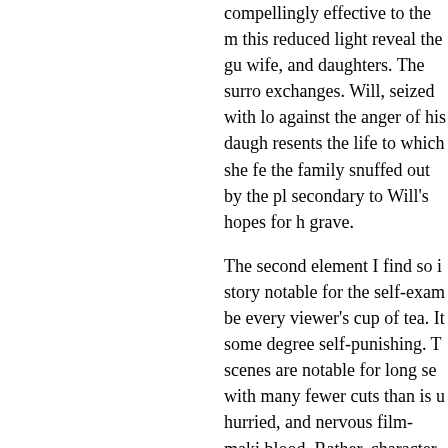compellingly effective to the m this reduced light reveal the gu wife, and daughters. The surro exchanges. Will, seized with lo against the anger of his daugh resents the life to which she fe the family snuffed out by the pl secondary to Will's hopes for h grave.
The second element I find so i story notable for the self-exam be every viewer's cup of tea. It some degree self-punishing. T scenes are notable for long se with many fewer cuts than is u hurried, and nervous film-maki blood. Rather, character is exp sometimes, self-acceptance — becomes clear.